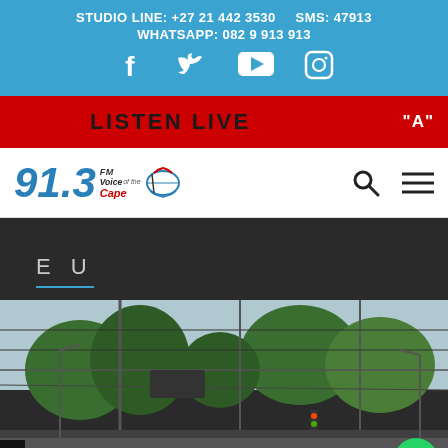STUDIO LINE: +27 21 442 3530    SMS: 47913
WHATSAPP: 082 9 913 913
[Figure (logo): Social media icons: Facebook, Twitter, YouTube, Instagram on blue background]
LISTEN LIVE
[Figure (logo): 91.3 FM Voice of the Cape radio station logo]
EU
[Figure (photo): Street scene with overhead electric tram or train wires, trees lining the street, traffic signals visible in the distance]